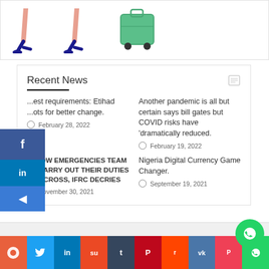[Figure (illustration): Illustration of high-heeled shoes and a trolley bag]
Recent News
...est requirements: Etihad ...ots for better change.
February 28, 2022
Another pandemic is all but certain says bill gates but COVID risks have 'dramatically reduced.
February 19, 2022
ALLOW EMERGENCIES TEAM TO CARRY OUT THEIR DUTIES RED CROSS, IFRC DECRIES
November 30, 2021
Nigeria Digital Currency Game Changer.
September 19, 2021